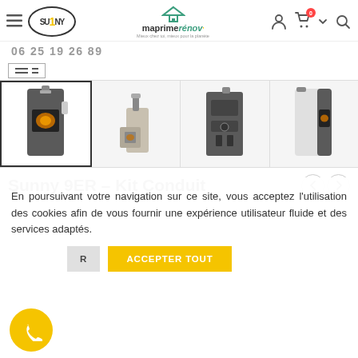[Figure (logo): Sunny 1 logo in oval border, with maprimerenov logo in center header]
06 25 19 26 89
[Figure (photo): Four product images of Sunny 9ER pellet stove in a row: front view selected, side view, back view, front with fire visible]
Sunny 9ER – Kit Conduit
En poursuivant votre navigation sur ce site, vous acceptez l'utilisation des cookies afin de vous fournir une expérience utilisateur fluide et des services adaptés.
[Figure (other): Cookie accept/refuse buttons: REFUSER and ACCEPTER TOUT]
[Figure (other): Yellow phone FAB button]